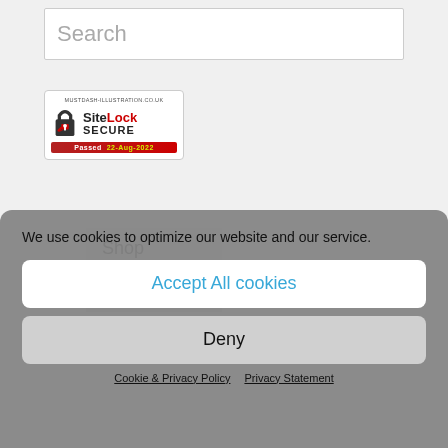Search
[Figure (logo): SiteLock SECURE badge with padlock icon, showing domain mustdash-illustration.co.uk and Passed 22-Aug-2022]
Shop
Cart
We use cookies to optimize our website and our service.
Accept All cookies
Deny
Cookie & Privacy Policy   Privacy Statement